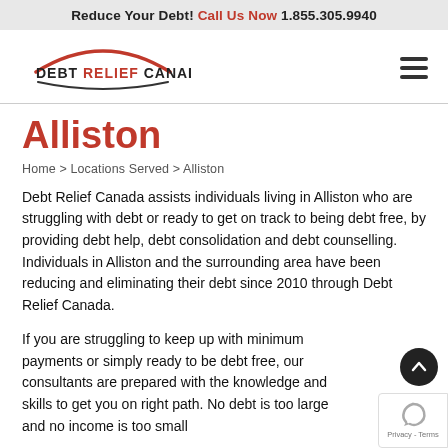Reduce Your Debt! Call Us Now 1.855.305.9940
[Figure (logo): Debt Relief Canada logo with red arc and dark text]
Alliston
Home > Locations Served > Alliston
Debt Relief Canada assists individuals living in Alliston who are struggling with debt or ready to get on track to being debt free, by providing debt help, debt consolidation and debt counselling. Individuals in Alliston and the surrounding area have been reducing and eliminating their debt since 2010 through Debt Relief Canada.
If you are struggling to keep up with minimum payments or simply ready to be debt free, our consultants are prepared with the knowledge and skills to get you on right path. No debt is too large and no income is too small